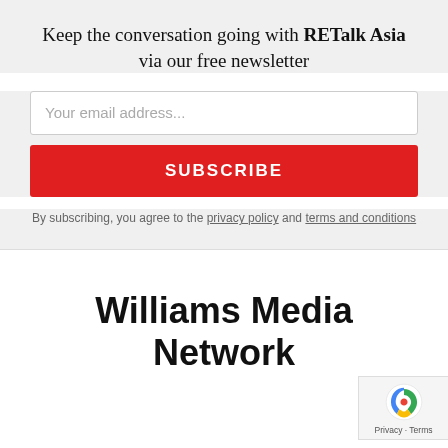Keep the conversation going with RETalk Asia via our free newsletter
[Figure (other): Email subscription form with placeholder text 'Your email address...' and a red SUBSCRIBE button]
By subscribing, you agree to the privacy policy and terms and conditions
Williams Media Network
[Figure (other): Google reCAPTCHA badge with Privacy and Terms links]